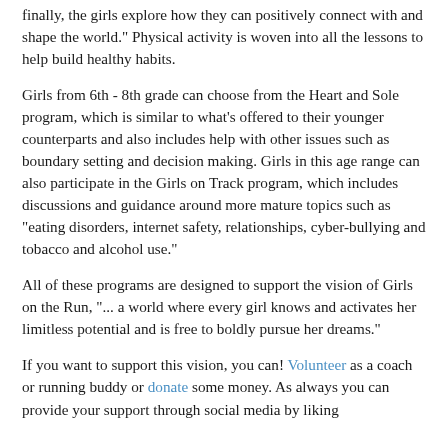finally, the girls explore how they can positively connect with and shape the world." Physical activity is woven into all the lessons to help build healthy habits.
Girls from 6th - 8th grade can choose from the Heart and Sole program, which is similar to what's offered to their younger counterparts and also includes help with other issues such as boundary setting and decision making. Girls in this age range can also participate in the Girls on Track program, which includes discussions and guidance around more mature topics such as "eating disorders, internet safety, relationships, cyber-bullying and tobacco and alcohol use."
All of these programs are designed to support the vision of Girls on the Run, "... a world where every girl knows and activates her limitless potential and is free to boldly pursue her dreams."
If you want to support this vision, you can! Volunteer as a coach or running buddy or donate some money. As always you can provide your support through social media by liking